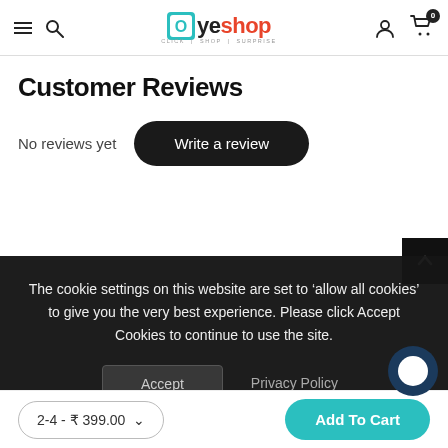Oyeshop - CLICK | SHOP | SURPRISE
Customer Reviews
No reviews yet
Write a review
The cookie settings on this website are set to ‘allow all cookies’ to give you the very best experience. Please click Accept Cookies to continue to use the site.
Accept
Privacy Policy
2-4 - ₹ 399.00   Add To Cart